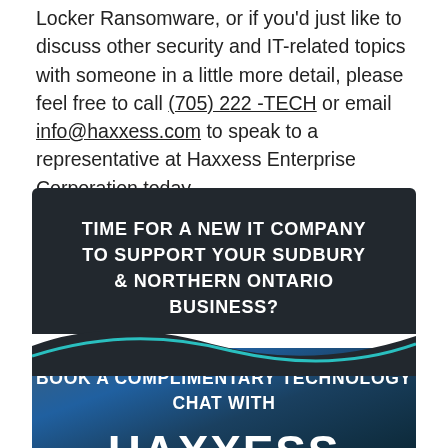Locker Ransomware, or if you'd just like to discuss other security and IT-related topics with someone in a little more detail, please feel free to call (705) 222 -TECH or email info@haxxess.com to speak to a representative at Haxxess Enterprise Corporation today.
[Figure (infographic): Promotional banner with dark top section containing text 'TIME FOR A NEW IT COMPANY TO SUPPORT YOUR SUDBURY & NORTHERN ONTARIO BUSINESS?' and a blue/photo lower section with text 'BOOK A COMPLIMENTARY TECHNOLOGY CHAT WITH HAXXESS']